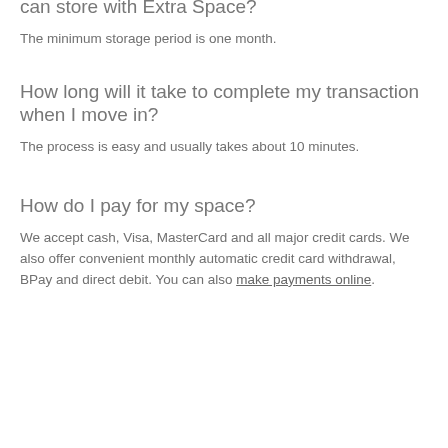can store with Extra Space?
The minimum storage period is one month.
How long will it take to complete my transaction when I move in?
The process is easy and usually takes about 10 minutes.
How do I pay for my space?
We accept cash, Visa, MasterCard and all major credit cards. We also offer convenient monthly automatic credit card withdrawal, BPay and direct debit. You can also make payments online.